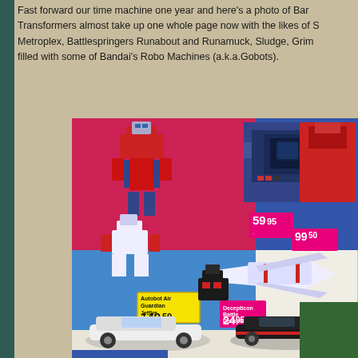Fast forward our time machine one year and here's a photo of Bar... Transformers almost take up one whole page now with the likes of S... Metroplex, Battlespringers Runabout and Runamuck, Sludge, Grim... filled with some of Bandai's Robo Machines (a.k.a.Gobots).
[Figure (photo): A vintage toy catalog page showing Transformers action figures and vehicles with price tags. Prices shown: 59.95, 99.50, 149.50, 24.95. Products include Jetfire/Air Guardian and various other Transformers toys including cars and robots.]